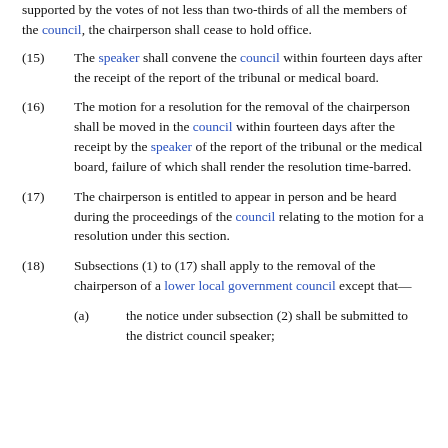supported by the votes of not less than two-thirds of all the members of the council, the chairperson shall cease to hold office.
(15) The speaker shall convene the council within fourteen days after the receipt of the report of the tribunal or medical board.
(16) The motion for a resolution for the removal of the chairperson shall be moved in the council within fourteen days after the receipt by the speaker of the report of the tribunal or the medical board, failure of which shall render the resolution time-barred.
(17) The chairperson is entitled to appear in person and be heard during the proceedings of the council relating to the motion for a resolution under this section.
(18) Subsections (1) to (17) shall apply to the removal of the chairperson of a lower local government council except that—
(a) the notice under subsection (2) shall be submitted to the district council speaker;